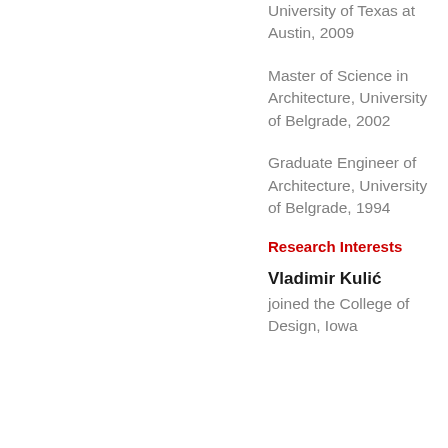University of Texas at Austin, 2009
Master of Science in Architecture, University of Belgrade, 2002
Graduate Engineer of Architecture, University of Belgrade, 1994
Research Interests
Vladimir Kulić joined the College of Design, Iowa